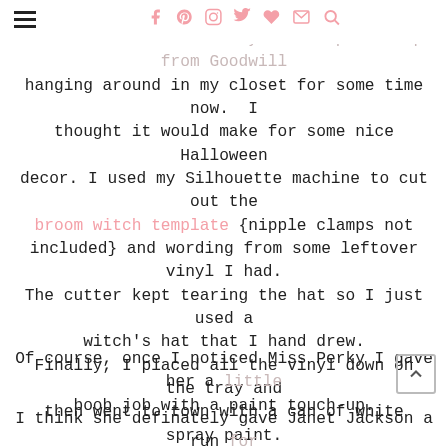[hamburger menu] [social icons: f, p, instagram, twitter, heart, mail, search]
I've had this black tray that I picked up from Goodwill hanging around in my closet for some time now. I thought it would make for some nice Halloween decor. I used my Silhouette machine to cut out the broom witch template {nipple clamps not included} and wording from some leftover vinyl I had. The cutter kept tearing the hat so I just used a witch's hat that I hand drew.
Finally, I placed all the vinyl down on the tray and then went to town with a can of white spray paint. I let it dry and then I removed the vinyl and wallah! Easy-peasy holiday decor.
Of course, once I noticed Miss Perky I gave her a little boob job with a paint touch-up.
I think she definately gave Janet Jackson a run for her money with those little perky self-portraits.